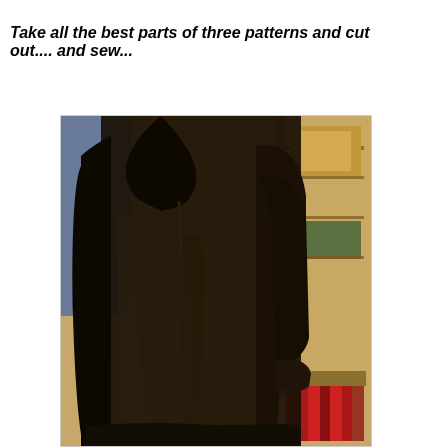Take all the best parts of three patterns and cut out.... and sew...
[Figure (photo): A dark brown/black fur coat displayed hanging, viewed from a slight angle showing the front and right side. The coat is long, full-length, with a wide lapel collar and long sleeves. Background shows a painted or decorative bookcase/shelving scene in warm golden-brown tones with some red books visible at the bottom right.]